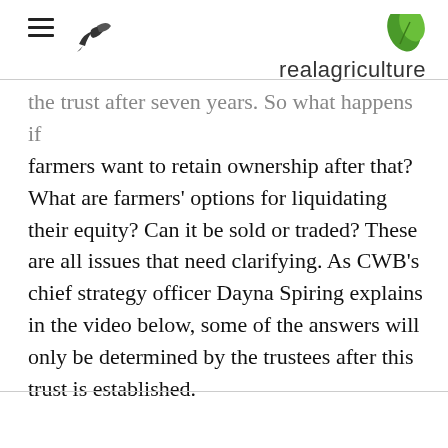realagriculture
farmers want to retain ownership after that? What are farmers' options for liquidating their equity? Can it be sold or traded? These are all issues that need clarifying. As CWB’s chief strategy officer Dayna Spiring explains in the video below, some of the answers will only be determined by the trustees after this trust is established.